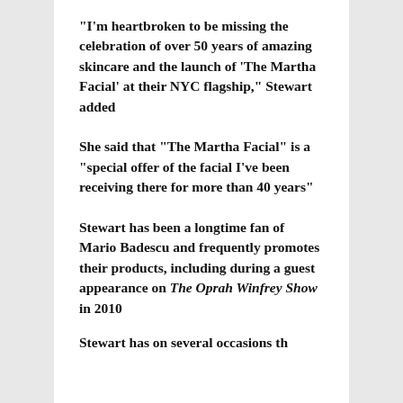“I’m heartbroken to be missing the celebration of over 50 years of amazing skincare and the launch of ‘The Martha Facial’ at their NYC flagship,” Stewart added
She said that “The Martha Facial” is a “special offer of the facial I’ve been receiving there for more than 40 years”
Stewart has been a longtime fan of Mario Badescu and frequently promotes their products, including during a guest appearance on The Oprah Winfrey Show in 2010
Stewart has on several occasions th...